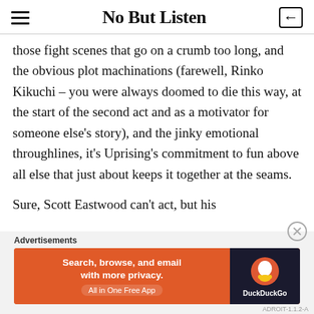No But Listen
those fight scenes that go on a crumb too long, and the obvious plot machinations (farewell, Rinko Kikuchi – you were always doomed to die this way, at the start of the second act and as a motivator for someone else's story), and the jinky emotional throughlines, it's Uprising's commitment to fun above all else that just about keeps it together at the seams.
Sure, Scott Eastwood can't act, but his
Advertisements
[Figure (screenshot): DuckDuckGo advertisement banner: orange background with text 'Search, browse, and email with more privacy. All in One Free App' and DuckDuckGo logo on dark background]